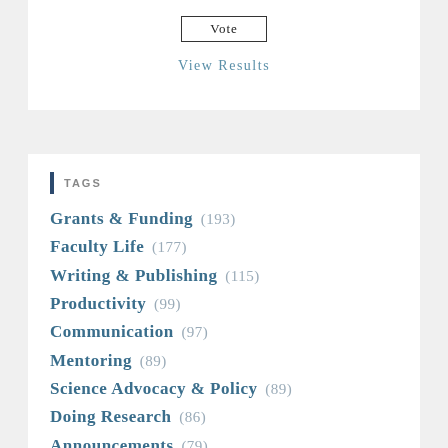Vote
View Results
TAGS
Grants & Funding (193)
Faculty Life (177)
Writing & Publishing (115)
Productivity (99)
Communication (97)
Mentoring (89)
Science Advocacy & Policy (89)
Doing Research (86)
Announcements (79)